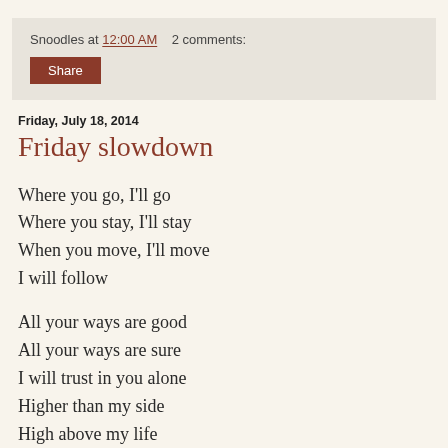Snoodles at 12:00 AM   2 comments:
Share
Friday, July 18, 2014
Friday slowdown
Where you go, I'll go
Where you stay, I'll stay
When you move, I'll move
I will follow

All your ways are good
All your ways are sure
I will trust in you alone
Higher than my side
High above my life
I will trust in you alone